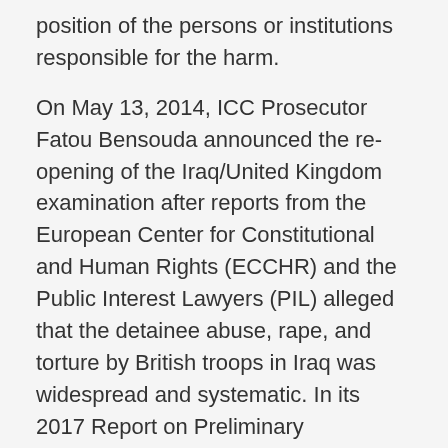position of the persons or institutions responsible for the harm.
On May 13, 2014, ICC Prosecutor Fatou Bensouda announced the re-opening of the Iraq/United Kingdom examination after reports from the European Center for Constitutional and Human Rights (ECCHR) and the Public Interest Lawyers (PIL) alleged that the detainee abuse, rape, and torture by British troops in Iraq was widespread and systematic. In its 2017 Report on Preliminary Examination Activities, the ICC Office of the Prosecutor announced that the examination had yielded enough evidence to believe that